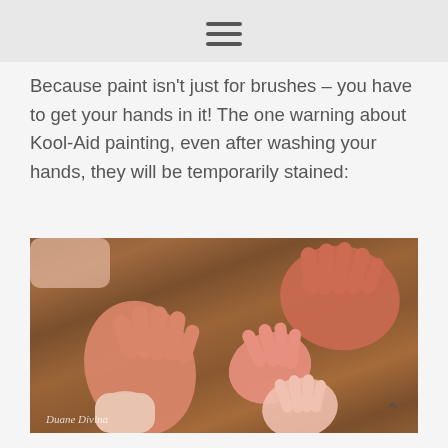[hamburger menu icon]
Because paint isn’t just for brushes – you have to get your hands in it! The one warning about Kool-Aid painting, even after washing your hands, they will be temporarily stained:
[Figure (photo): Multiple hands with reddish-pink Kool-Aid stains displayed palm-up and palm-down on a wooden table surface. The hands belong to both adults and children showing the staining effect from Kool-Aid painting.]